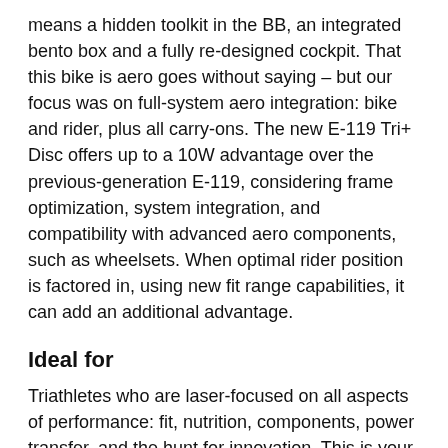means a hidden toolkit in the BB, an integrated bento box and a fully re-designed cockpit. That this bike is aero goes without saying – but our focus was on full-system aero integration: bike and rider, plus all carry-ons. The new E-119 Tri+ Disc offers up to a 10W advantage over the previous-generation E-119, considering frame optimization, system integration, and compatibility with advanced aero components, such as wheelsets. When optimal rider position is factored in, using new fit range capabilities, it can add an additional advantage.
Ideal for
Triathletes who are laser-focused on all aspects of performance: fit, nutrition, components, power transfer, and the hunt for innovation. This is your race-day weapon.